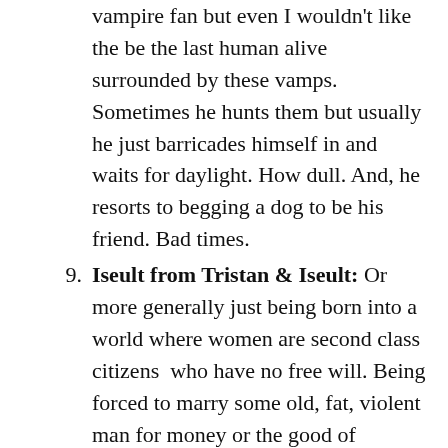vampire fan but even I wouldn't like the be the last human alive surrounded by these vamps. Sometimes he hunts them but usually he just barricades himself in and waits for daylight. How dull. And, he resorts to begging a dog to be his friend. Bad times.
9. Iseult from Tristan & Iseult: Or more generally just being born into a world where women are second class citizens  who have no free will. Being forced to marry some old, fat, violent man for money or the good of everyone else...I don't think so.
10. Christine in Before I go to Sleep: This is totally one of my worse nightmares – forgetting absolutely everything you know, including who you are and who your